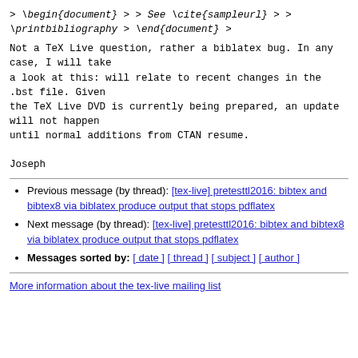> \begin{document}
>
> See \cite{sampleurl}
>
> \printbibliography
> \end{document}
>
Not a TeX Live question, rather a biblatex bug. In any case, I will take
a look at this: will relate to recent changes in the
.bst file. Given
the TeX Live DVD is currently being prepared, an update will not happen
until normal additions from CTAN resume.

Joseph
Previous message (by thread): [tex-live] pretesttl2016: bibtex and bibtex8 via biblatex produce output that stops pdflatex
Next message (by thread): [tex-live] pretesttl2016: bibtex and bibtex8 via biblatex produce output that stops pdflatex
Messages sorted by: [ date ] [ thread ] [ subject ] [ author ]
More information about the tex-live mailing list